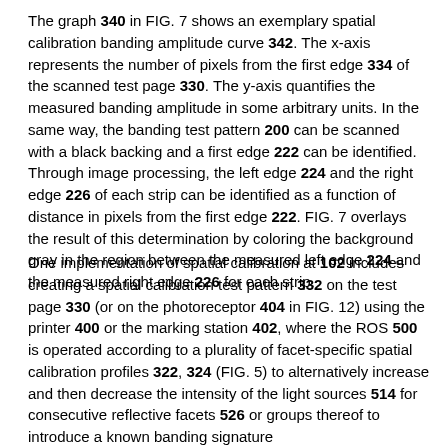The graph 340 in FIG. 7 shows an exemplary spatial calibration banding amplitude curve 342. The x-axis represents the number of pixels from the first edge 334 of the scanned test page 330. The y-axis quantifies the measured banding amplitude in some arbitrary units. In the same way, the banding test pattern 200 can be scanned with a black backing and a first edge 222 can be identified. Through image processing, the left edge 224 and the right edge 226 of each strip can be identified as a function of distance in pixels from the first edge 222. FIG. 7 overlays the result of this determination by coloring the background gray in the region between the measured left edge 224 and the measured right edge 226 for each strip.
One implementation of spatial calibration at 102 includes creating a spatial calibration test pattern 332 on the test page 330 (or on the photoreceptor 404 in FIG. 12) using the printer 400 or the marking station 402, where the ROS 500 is operated according to a plurality of facet-specific spatial calibration profiles 322, 324 (FIG. 5) to alternatively increase and then decrease the intensity of the light sources 514 for consecutive reflective facets 526 or groups thereof to introduce a known banding signature